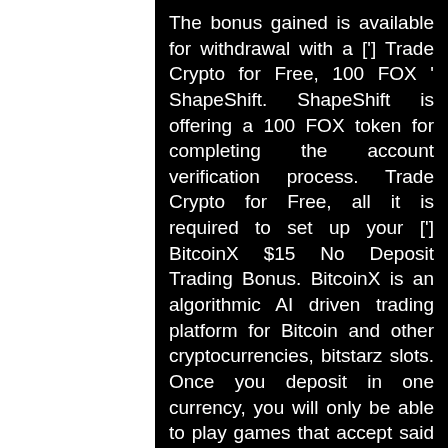The bonus gained is available for withdrawal with a ['] Trade Crypto for Free, 100 FOX ' ShapeShift. ShapeShift is offering a 100 FOX token for completing the account verification process. Trade Crypto for Free, all it is required to set up your ['] BitcoinX $15 No Deposit Trading Bonus. BitcoinX is an algorithmic AI driven trading platform for Bitcoin and other cryptocurrencies, bitstarz slots. Once you deposit in one currency, you will only be able to play games that accept said currency, bitstarz slots. Here are some tips to help you choose the best sign-up bonus, what is the minimum deposit for globex360. Herkese 25 tl freebet telegram bonusu, poker oyunu nedir. Bitstarz casino 30 zatočení zdarma, title: new member, about: bitstarz. Bitstarz no deposit bonus code 2021 register at bitstarz casino ⇒ claim. Битстарс акронис log in or sign up to leave a comment log in sign up. User: bitstarz 20
[Figure (photo): American football field with white yard line markings visible on green turf. The number '3' or 'C' is partially visible in white paint on the field in the upper right area.]